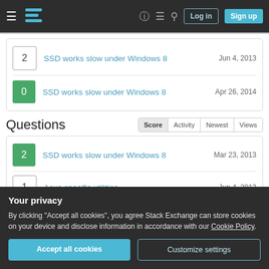Stack Exchange navigation bar with Log in and Sign up buttons
2 | SSD works slow under Windows 8 | Jun 4, 2013
0 | SSD works slow under Windows 8 | Apr 26, 2014
Questions
2 | SSD works slow under Windows 8 | Mar 23, 2013
1 | Asus specific utilities | Jun 4, 2013
Your privacy

By clicking "Accept all cookies", you agree Stack Exchange can store cookies on your device and disclose information in accordance with our Cookie Policy.
Accept all cookies | Customize settings